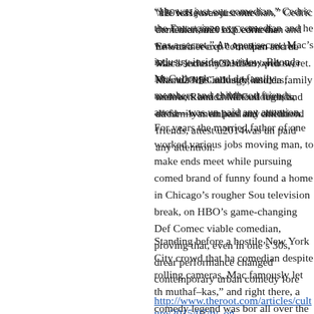“He was just our comedian,” Cedric the Entertainer exp comedian and he was a secret.” An open secret. Mac’s industry insiders; widow, Rhonda McCullough; and da family members and childhood friends, attest—was un paid any attention.
For years the married father of one worked various jobs moving man, to make ends meet while pursuing comed brand of funny found a home in Chicago’s rougher Sou television break, on HBO’s game-changing Def Comec viable comedian, proving that, even in one’s 30s, drear performance changed contemporary urban comedy fore
Standing before a hostile New York City crowd that ha comedian despite rolling cameras, Mac famously let th muthaf–kas,” and right there, a comedy legend was bor all over the country.
http://www.theroot.com/articles/culture/2015/07/tv_on